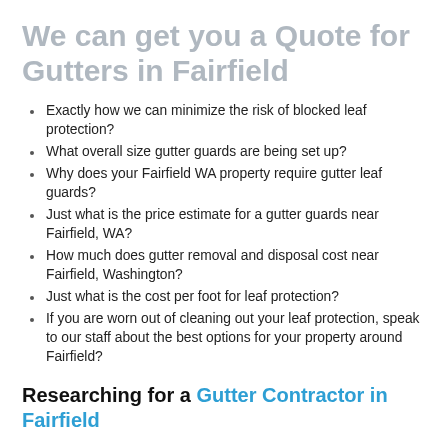We can get you a Quote for Gutters in Fairfield
Exactly how we can minimize the risk of blocked leaf protection?
What overall size gutter guards are being set up?
Why does your Fairfield WA property require gutter leaf guards?
Just what is the price estimate for a gutter guards near Fairfield, WA?
How much does gutter removal and disposal cost near Fairfield, Washington?
Just what is the cost per foot for leaf protection?
If you are worn out of cleaning out your leaf protection, speak to our staff about the best options for your property around Fairfield?
Researching for a Gutter Contractor in Fairfield